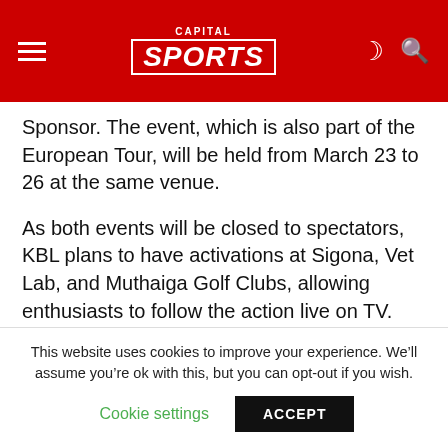Capital Sports
Sponsor. The event, which is also part of the European Tour, will be held from March 23 to 26 at the same venue.
As both events will be closed to spectators, KBL plans to have activations at Sigona, Vet Lab, and Muthaiga Golf Clubs, allowing enthusiasts to follow the action live on TV.
“KBL will be having a series of activations at Sigona, Vet Lab, and Muthaiga golf clubs to allow enthusiasts to follow the action from Karen live on big screens while experiencing unrivaled KBL hospitality as they would
This website uses cookies to improve your experience. We’ll assume you’re ok with this, but you can opt-out if you wish. Cookie settings ACCEPT